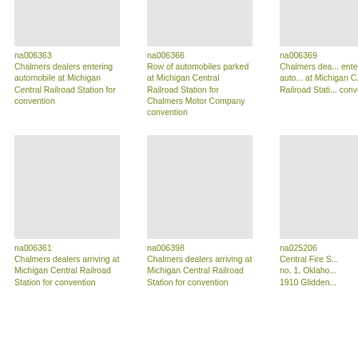[Figure (photo): Top row left photo placeholder - Chalmers dealers entering automobile at Michigan Central Railroad Station]
na006363
Chalmers dealers entering automobile at Michigan Central Railroad Station for convention
[Figure (photo): Top row center photo placeholder - Row of automobiles parked at Michigan Central Railroad Station]
na006366
Row of automobiles parked at Michigan Central Railroad Station for Chalmers Motor Company convention
[Figure (photo): Top row right photo placeholder - Chalmers dealers entering automobile at Michigan Central Railroad Station (partial)]
na006369
Chalmers dealers entering automobile at Michigan Central Railroad Station for convention
[Figure (photo): Bottom row left photo placeholder - Chalmers dealers arriving at Michigan Central Railroad Station]
na006361
Chalmers dealers arriving at Michigan Central Railroad Station for convention
[Figure (photo): Bottom row center photo placeholder - Chalmers dealers arriving at Michigan Central Railroad Station]
na006398
Chalmers dealers arriving at Michigan Central Railroad Station for convention
[Figure (photo): Bottom row right photo placeholder - Central Fire Station]
na025206
Central Fire S... no. 1, Oklaho... 1910 Glidden...